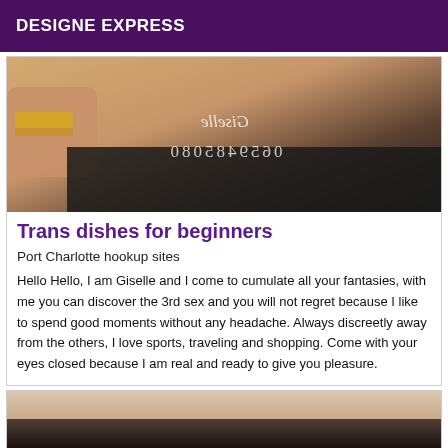DESIGNE EXPRESS
[Figure (photo): Close-up photo of a person's torso/shoulder area with a gold bracelet visible, dark clothing, with mirrored/reversed watermark text overlay reading 'Giselle' and a phone number]
Trans dishes for beginners
Port Charlotte hookup sites
Hello Hello, I am Giselle and I come to cumulate all your fantasies, with me you can discover the 3rd sex and you will not regret because I like to spend good moments without any headache. Always discreetly away from the others, I love sports, traveling and shopping. Come with your eyes closed because I am real and ready to give you pleasure.
[Figure (photo): Partial photo showing a person's skin/back area, cropped at bottom of page]